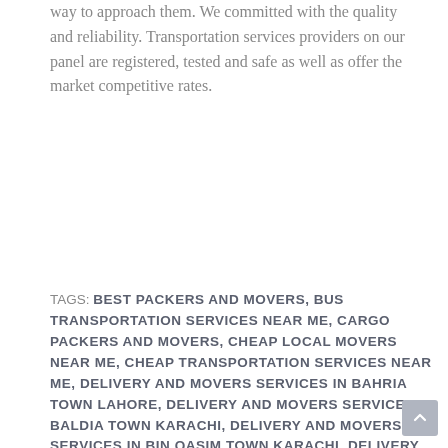way to approach them. We committed with the quality and reliability. Transportation services providers on our panel are registered, tested and safe as well as offer the market competitive rates.
TAGS: BEST PACKERS AND MOVERS, BUS TRANSPORTATION SERVICES NEAR ME, CARGO PACKERS AND MOVERS, CHEAP LOCAL MOVERS NEAR ME, CHEAP TRANSPORTATION SERVICES NEAR ME, DELIVERY AND MOVERS SERVICES IN BAHRIA TOWN LAHORE, DELIVERY AND MOVERS SERVICES IN BALDIA TOWN KARACHI, DELIVERY AND MOVERS SERVICES IN BIN QASIM TOWN KARACHI, DELIVERY AND MOVERS SERVICES IN CHAK JHUMRA TOWN FAISALABAD, DELIVERY AND MOVERS SERVICES IN DHA LAHORE, DELIVERY AND MOVERS SERVICES IN FAISALABAD, DELIVERY AND MOVERS SERVICES IN GADAP TOWN KARACHI, DELIVERY AND MOVERS SERVICES IN GULBERG LAHORE, DELIVERY AND MOVERS SERVICES IN GULBERG TOWN KARACHI, DELIVERY AND MOVERS SERVICES IN GULSHAN TOWN KARACHI, DELIVERY AND MOVERS SERVICES IN IQBAL TOWN FAISALABAD, DELIVERY AND MOVERS SERVICES IN JALALPUR PIRWALA CITY MULTAN, DELIVERY AND MOVERS SERVICES IN JAMSHED TOWN KARACHI, DELIVERY AND MOVERS SERVICES IN JARANWALA TOWN FAISALABAD, DELIVERY AND MOVERS